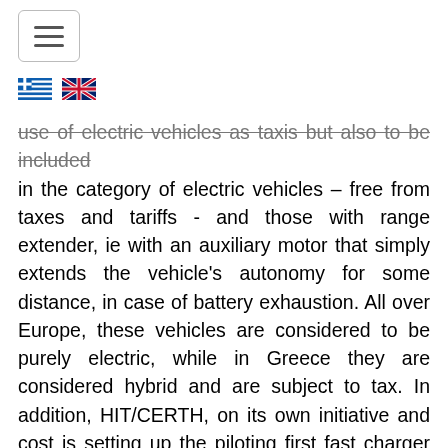[Figure (other): Navigation hamburger menu button with three horizontal lines, bordered rectangle]
[Figure (other): Greek flag and UK flag icons for language selection]
use of electric vehicles as taxis but also to be included in the category of electric vehicles – free from taxes and tariffs - and those with range extender, ie with an auxiliary motor that simply extends the vehicle's autonomy for some distance, in case of battery exhaustion. All over Europe, these vehicles are considered to be purely electric, while in Greece they are considered hybrid and are subject to tax. In addition, HIT/CERTH, on its own initiative and cost is setting up the piloting first fast charger as well as a group of simple chargers at a charging station of the Hellenic Petroleum Company (HELPE), between Charilaou and Thermi, for public use."
On his visit to the TAXIWAY stand at the HELEXPO